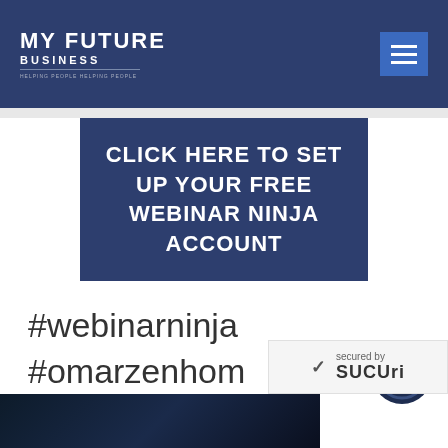MY FUTURE BUSINESS
CLICK HERE TO SET UP YOUR FREE WEBINAR NINJA ACCOUNT
#webinarninja
#omarzenhom
#webinarsoftware
[Figure (logo): Circular badge/logo with dark navy background and number 10 in cyan circle]
secured by SUCURI